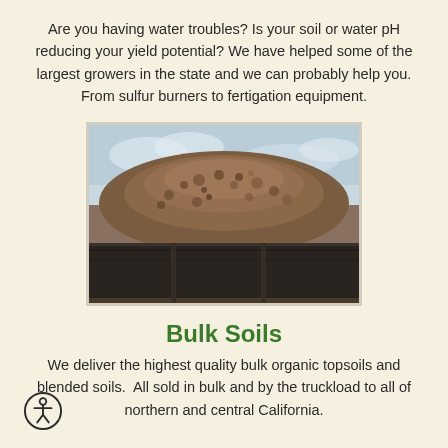Are you having water troubles? Is your soil or water pH reducing your yield potential? We have helped some of the largest growers in the state and we can probably help you. From sulfur burners to fertigation equipment.
[Figure (photo): A large pile of bulk organic material (wood chips or soil amendments) covered with black tarps at the base, photographed outdoors against a cloudy sky.]
Bulk Soils
We deliver the highest quality bulk organic topsoils and blended soils. All sold in bulk and by the truckload to all of northern and central California.